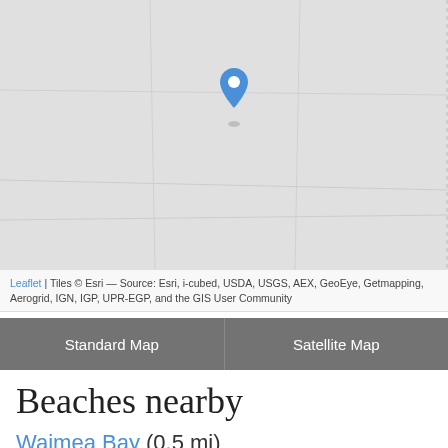[Figure (map): A gray map with a blue location pin marker positioned slightly left of center near the top portion of the map area.]
Leaflet | Tiles © Esri — Source: Esri, i-cubed, USDA, USGS, AEX, GeoEye, Getmapping, Aerogrid, IGN, IGP, UPR-EGP, and the GIS User Community
Standard Map | Satellite Map
Beaches nearby
Waimea Bay (0.5 mi)